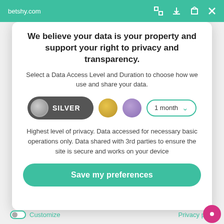betshy.com
We believe your data is your property and support your right to privacy and transparency.
Select a Data Access Level and Duration to choose how we use and share your data.
[Figure (infographic): Privacy level selector: Silver toggle (active), gold circle, purple circle, and 1 month dropdown selector]
Highest level of privacy. Data accessed for necessary basic operations only. Data shared with 3rd parties to ensure the site is secure and works on your device
Save my preferences
Customize    Privacy po...